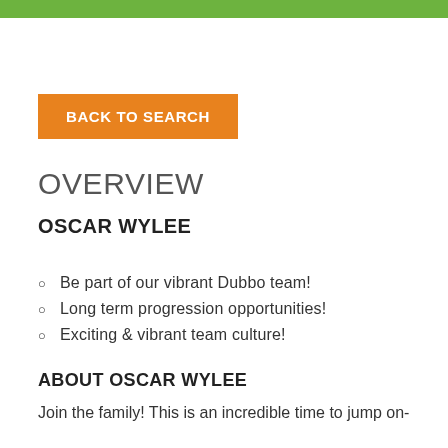BACK TO SEARCH
OVERVIEW
OSCAR WYLEE
Be part of our vibrant Dubbo team!
Long term progression opportunities!
Exciting & vibrant team culture!
ABOUT OSCAR WYLEE
Join the family! This is an incredible time to jump on-